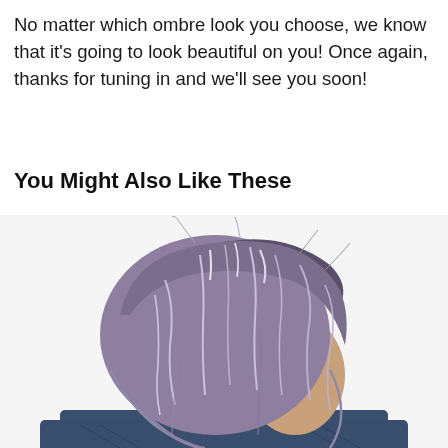No matter which ombre look you choose, we know that it's going to look beautiful on you! Once again, thanks for tuning in and we'll see you soon!
You Might Also Like These
[Figure (photo): Woman with silver-lavender ombre bob haircut, viewed from a slight angle, wearing a dark denim jacket. Hair is layered, textured, and tousled with silver and purple tones blending from roots to tips.]